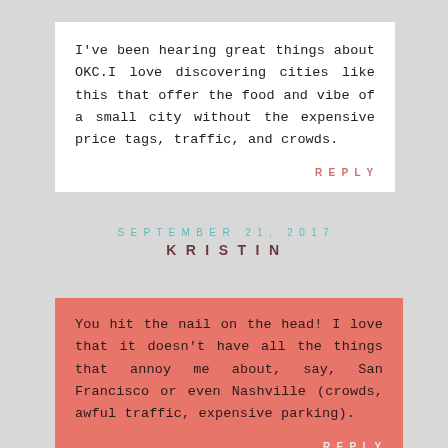I've been hearing great things about OKC.I love discovering cities like this that offer the food and vibe of a small city without the expensive price tags, traffic, and crowds.
REPLY
SEPTEMBER 21, 2017
KRISTIN
You hit the nail on the head! I love that it doesn't have all the things that annoy me about, say, San Francisco or even Nashville (crowds, awful traffic, expensive parking).
REPLY